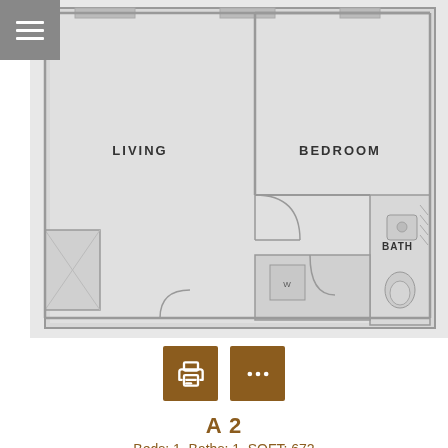[Figure (engineering-diagram): Apartment floor plan showing a 1-bedroom, 1-bath unit with living area, bedroom, bath, and utility areas. Labels: LIVING, BEDROOM, BATH. Menu icon (three horizontal lines) in top-left corner.]
A 2
Beds: 1, Baths: 1, SQFT: 672